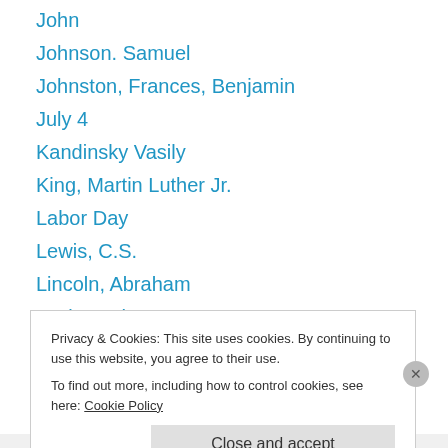John
Johnson. Samuel
Johnston, Frances, Benjamin
July 4
Kandinsky Vasily
King, Martin Luther Jr.
Labor Day
Lewis, C.S.
Lincoln, Abraham
Locke, John
Mark Twain
Memorial Day
Milne, A.A.
Privacy & Cookies: This site uses cookies. By continuing to use this website, you agree to their use. To find out more, including how to control cookies, see here: Cookie Policy